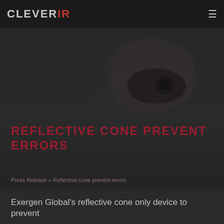CLEVERIR
[Figure (photo): Dark background with a faint silhouette of a medical/infrared thermometer device against a dark grey background]
REFLECTIVE CONE PREVENT ERRORS
Press Release » Reflective cone prevent errors
Exergen Global's reflective cone only device to prevent